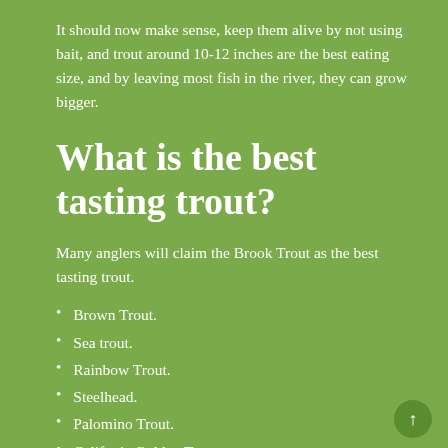It should now make sense, keep them alive by not using bait, and trout around 10-12 inches are the best eating size, and by leaving most fish in the river, they can grow bigger.
What is the best tasting trout?
Many anglers will claim the Brook Trout as the best tasting trout.
Brown Trout.
Sea trout.
Rainbow Trout.
Steelhead.
Palomino Trout.
Califonia Golden Trout.
Cutthroat Trout.
Brook Trout.